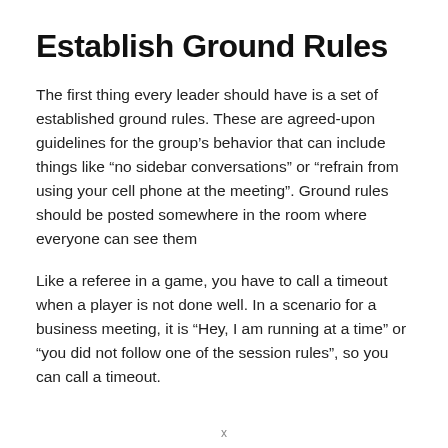Establish Ground Rules
The first thing every leader should have is a set of established ground rules. These are agreed-upon guidelines for the group’s behavior that can include things like “no sidebar conversations” or “refrain from using your cell phone at the meeting”. Ground rules should be posted somewhere in the room where everyone can see them
Like a referee in a game, you have to call a timeout when a player is not done well. In a scenario for a business meeting, it is “Hey, I am running at a time” or “you did not follow one of the session rules”, so you can call a timeout.